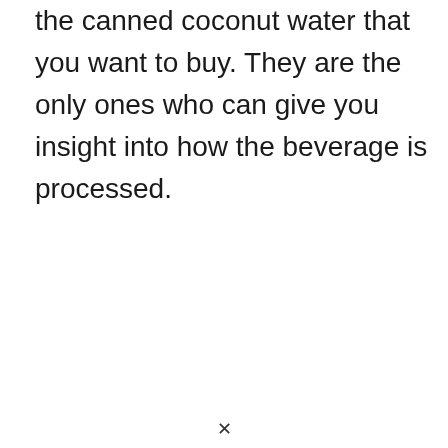the canned coconut water that you want to buy. They are the only ones who can give you insight into how the beverage is processed.
x